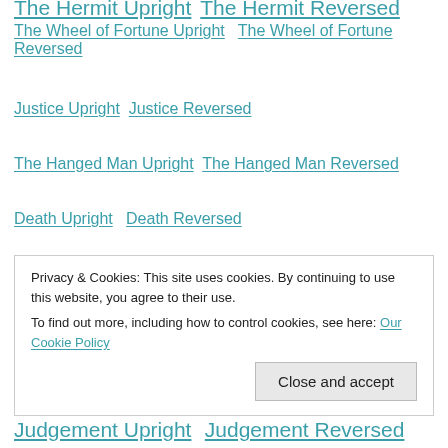The Wheel of Fortune Upright   The Wheel of Fortune Reversed
Justice Upright   Justice Reversed
The Hanged Man Upright   The Hanged Man Reversed
Death Upright   Death Reversed
Temperence Upright   Temperence Reversed
The Devil Upright   The Devil Reversed
The Tower Upright   The Tower Reversed
Privacy & Cookies: This site uses cookies. By continuing to use this website, you agree to their use.
To find out more, including how to control cookies, see here: Our Cookie Policy
Judgement Upright   Judgement Reversed